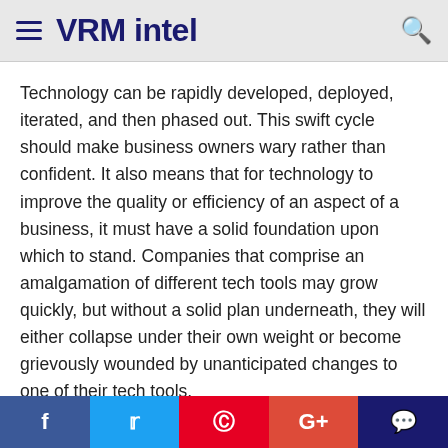VRM intel
Technology can be rapidly developed, deployed, iterated, and then phased out. This swift cycle should make business owners wary rather than confident. It also means that for technology to improve the quality or efficiency of an aspect of a business, it must have a solid foundation upon which to stand. Companies that comprise an amalgamation of different tech tools may grow quickly, but without a solid plan underneath, they will either collapse under their own weight or become grievously wounded by unanticipated changes to one of their tech tools.
Similarly, a company that has strong tribal knowledge without a solid foundation will always be at risk of experiencing major setbacks if that tribal knowledge (— —